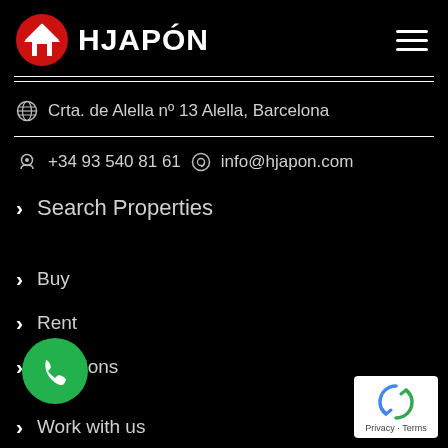HJAPÓN
Crta. de Alella nº 13 Alella, Barcelona
+34 93 540 81 61  info@hjapon.com
Search Properties
Buy
Rent
Locations
Work with us